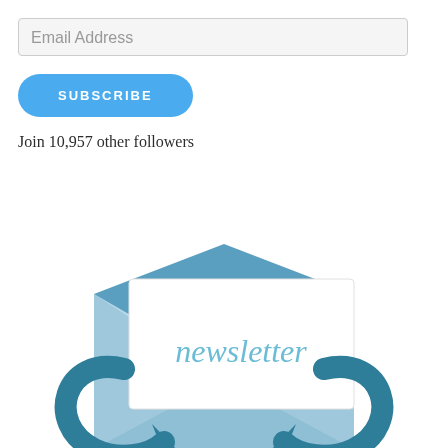Email Address
SUBSCRIBE
Join 10,957 other followers
[Figure (illustration): Newsletter subscription illustration: an open envelope with a white card showing the word 'newsletter' in light blue handwritten-style font, surrounded by two dark teal circular arrows indicating email subscription/follow cycle]